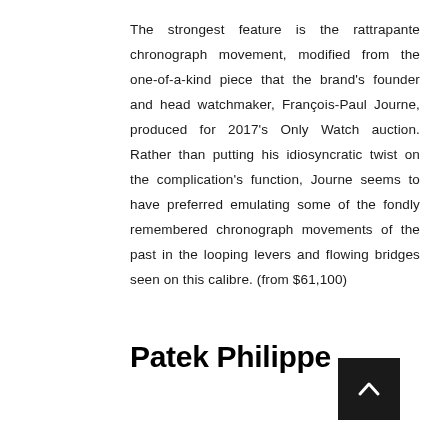The strongest feature is the rattrapante chronograph movement, modified from the one-of-a-kind piece that the brand's founder and head watchmaker, François-Paul Journe, produced for 2017's Only Watch auction. Rather than putting his idiosyncratic twist on the complication's function, Journe seems to have preferred emulating some of the fondly remembered chronograph movements of the past in the looping levers and flowing bridges seen on this calibre. (from $61,100)
Patek Philippe